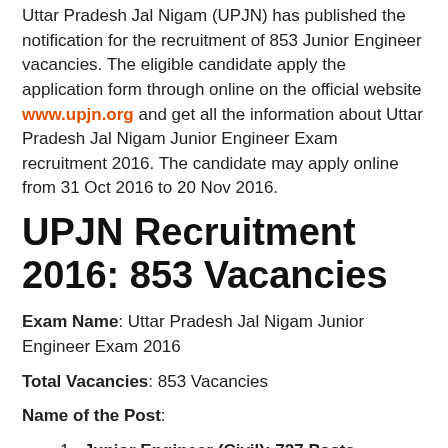Uttar Pradesh Jal Nigam (UPJN) has published the notification for the recruitment of 853 Junior Engineer vacancies. The eligible candidate apply the application form through online on the official website www.upjn.org and get all the information about Uttar Pradesh Jal Nigam Junior Engineer Exam recruitment 2016. The candidate may apply online from 31 Oct 2016 to 20 Nov 2016.
UPJN Recruitment 2016: 853 Vacancies
Exam Name: Uttar Pradesh Jal Nigam Junior Engineer Exam 2016
Total Vacancies: 853 Vacancies
Name of the Post:
Junior Engineer (Civil): 727 Posts
General: 363 Posts
OBC: 196 Posts